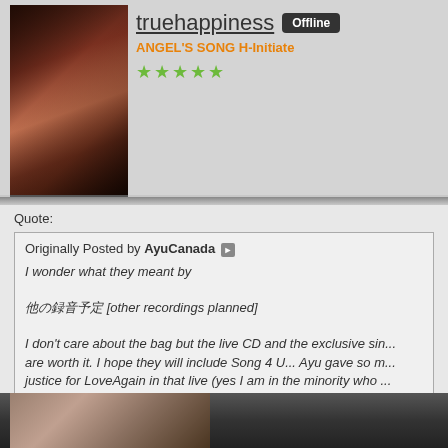[Figure (photo): Avatar photo of user truehappiness, showing a dark-haired person]
truehappiness  Offline
ANGEL'S SONG H-Initiate
★★★★★ (5 green stars)
Quote:
Originally Posted by AyuCanada
I wonder what they meant by

他の録音予定 [other recordings planned]

I don't care about the bag but the live CD and the exclusive sin... are worth it. I hope they will include Song 4 U... Ayu gave so m... justice for LoveAgain in that live (yes I am in the minority who ... that album).
Usually it just means more will be in the track list than those ten the showed.
[Figure (photo): Bottom photo showing a person with dark hair against dark background]